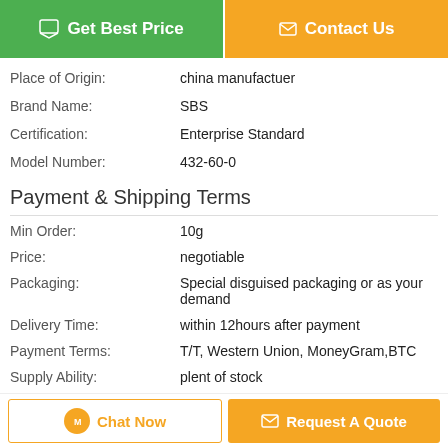[Figure (other): Two buttons: green 'Get Best Price' and orange 'Contact Us']
| Place of Origin: | china manufactuer |
| Brand Name: | SBS |
| Certification: | Enterprise Standard |
| Model Number: | 432-60-0 |
Payment & Shipping Terms
| Min Order: | 10g |
| Price: | negotiable |
| Packaging: | Special disguised packaging or as your demand |
| Delivery Time: | within 12hours after payment |
| Payment Terms: | T/T, Western Union, MoneyGram,BTC |
| Supply Ability: | plent of stock |
Description
[Figure (other): Two buttons at bottom: 'Chat Now' with orange border and orange chat icon, and orange 'Request A Quote' button]